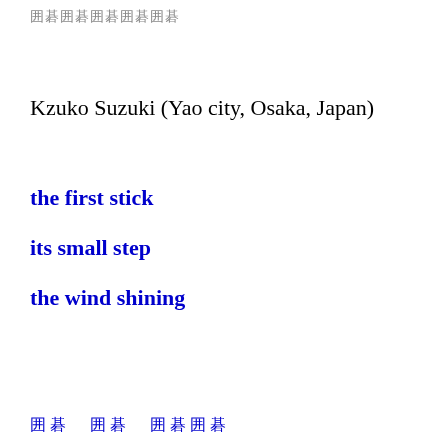囲碁囲碁囲碁囲碁囲碁
Kzuko Suzuki  (Yao city, Osaka, Japan)
the first stick
its small step
the wind shining
囲碁　囲碁　囲碁囲碁